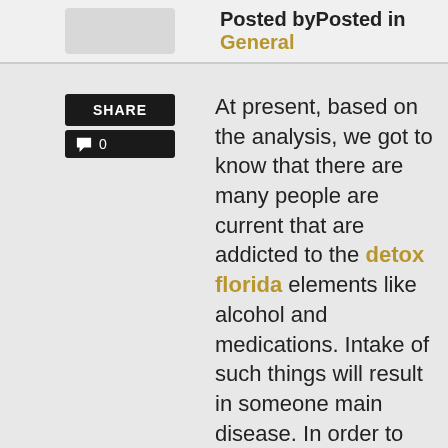Posted byPosted in General
[Figure (other): Share button with comment count showing 0]
At present, based on the analysis, we got to know that there are many people are current that are addicted to the detox florida elements like alcohol and medications. Intake of such things will result in someone main disease. In order to prevent men and women from such a disease, cleansing locations have been launched.
Generally, the florida detox heart aids a huge number of addicts remove the awful habit of taking in alcoholic beverages or another addictive chemical. Therefore, the